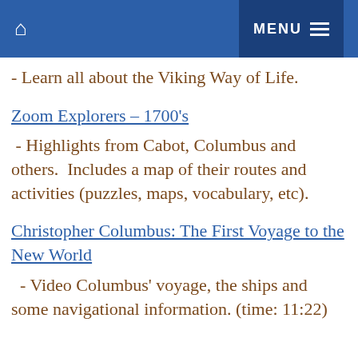🏠   MENU ≡
- Learn all about the Viking Way of Life.
Zoom Explorers – 1700's
- Highlights from Cabot, Columbus and others.  Includes a map of their routes and activities (puzzles, maps, vocabulary, etc).
Christopher Columbus: The First Voyage to the New World
- Video Columbus' voyage, the ships and some navigational information. (time: 11:22)